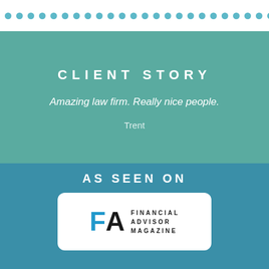[Figure (other): Row of teal dots across white background at top of page]
CLIENT STORY
Amazing law firm. Really nice people.
Trent
AS SEEN ON
[Figure (logo): Financial Advisor Magazine logo — FA letters in blue and black with text FINANCIAL ADVISOR MAGAZINE in white rounded rectangle box]
[Figure (logo): GoodDay logo — circular yellow-orange-red gradient with GoodDay text]
[Figure (logo): CreditCardGuide logo — dark blue rectangle with globe icon and CreditCardGuide text, The Trusted Source for Credit Cards Online]